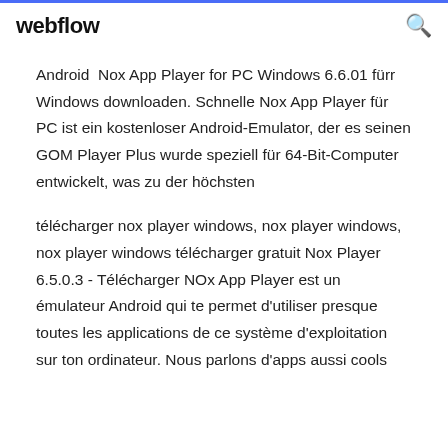webflow
Android Nox App Player for PC Windows 6.6.01 fürr Windows downloaden. Schnelle Nox App Player für PC ist ein kostenloser Android-Emulator, der es seinen GOM Player Plus wurde speziell für 64-Bit-Computer entwickelt, was zu der höchsten
télécharger nox player windows, nox player windows, nox player windows télécharger gratuit Nox Player 6.5.0.3 - Télécharger NOx App Player est un émulateur Android qui te permet d'utiliser presque toutes les applications de ce système d'exploitation sur ton ordinateur. Nous parlons d'apps aussi cools